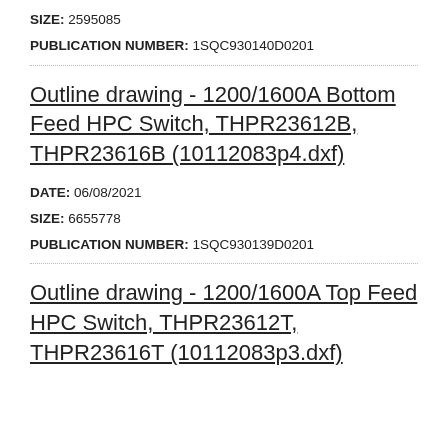SIZE: 2595085
PUBLICATION NUMBER: 1SQC930140D0201
Outline drawing - 1200/1600A Bottom Feed HPC Switch, THPR23612B, THPR23616B (10112083p4.dxf)
DATE: 06/08/2021
SIZE: 6655778
PUBLICATION NUMBER: 1SQC930139D0201
Outline drawing - 1200/1600A Top Feed HPC Switch, THPR23612T, THPR23616T (10112083p3.dxf)